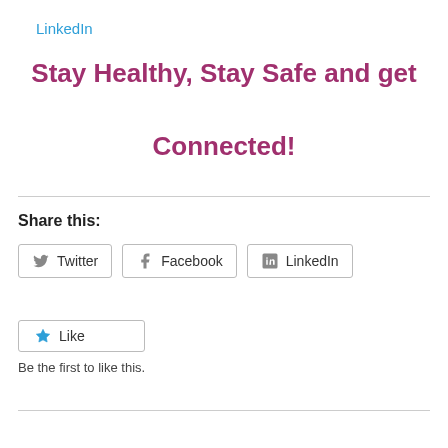LinkedIn
Stay Healthy, Stay Safe and get Connected!
Share this:
Twitter  Facebook  LinkedIn
Like
Be the first to like this.